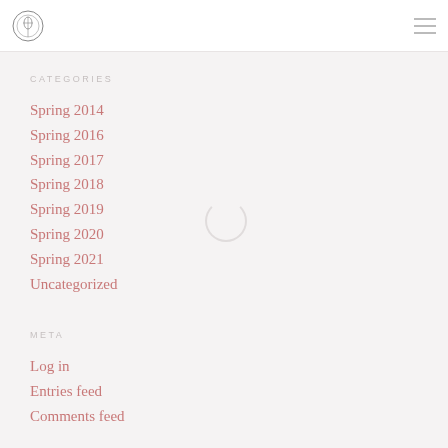[logo] [hamburger menu]
CATEGORIES
Spring 2014
Spring 2016
Spring 2017
Spring 2018
Spring 2019
Spring 2020
Spring 2021
Uncategorized
META
Log in
Entries feed
Comments feed